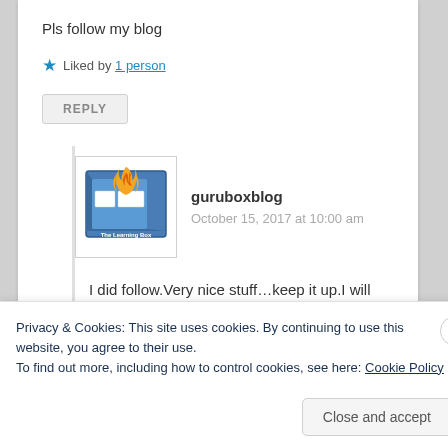Pls follow my blog
★ Liked by 1 person
REPLY
[Figure (logo): The Learning Box logo — a blue cube with flame icon and text 'The Learning Box']
guruboxblog
October 15, 2017 at 10:00 am
I did follow.Very nice stuff…keep it up.I will also review few article on your blog and give you a feedback.
Privacy & Cookies: This site uses cookies. By continuing to use this website, you agree to their use.
To find out more, including how to control cookies, see here: Cookie Policy
Close and accept